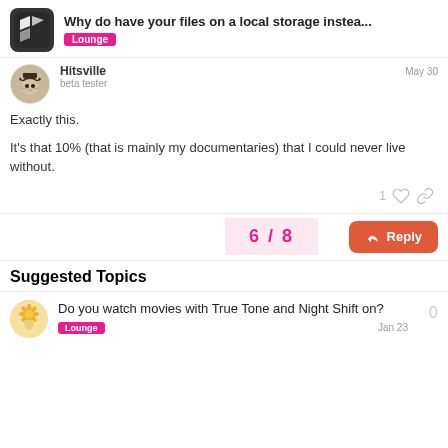Why do have your files on a local storage instea... — Lounge
Hitsville
beta tester
May 30

Exactly this.

It's that 10% (that is mainly my documentaries) that I could never live without.
Suggested Topics
Do you watch movies with True Tone and Night Shift on?
Lounge
Jan 23
0